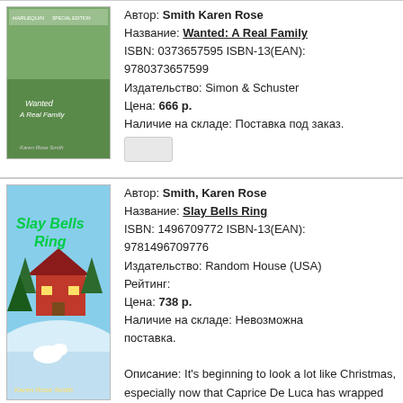[Figure (illustration): Book cover: Wanted: A Real Family by Karen Rose Smith. Harlequin Special Edition. Shows a couple in wedding attire with a child.]
Автор: Smith Karen Rose
Название: Wanted: A Real Family
ISBN: 0373657595 ISBN-13(EAN): 9780373657599
Издательство: Simon & Schuster
Цена: 666 р.
Наличие на складе: Поставка под заказ.
[Figure (illustration): Book cover: Slay Bells Ring by Karen Rose Smith. Shows a winter scene with a cabin, Christmas trees, and a white dog.]
Автор: Smith, Karen Rose
Название: Slay Bells Ring
ISBN: 1496709772 ISBN-13(EAN): 9781496709776
Издательство: Random House (USA)
Рейтинг:
Цена: 738 р.
Наличие на складе: Невозможна поставка.

Описание: It's beginning to look a lot like Christmas, especially now that Caprice De Luca has wrapped up her holiday-themed staging gig at a stunning historic home in downtown Kismet, Pennsylvania. Behind all the red ribbon and glowing string lights, homeowners Chris and Sara Merriweather...